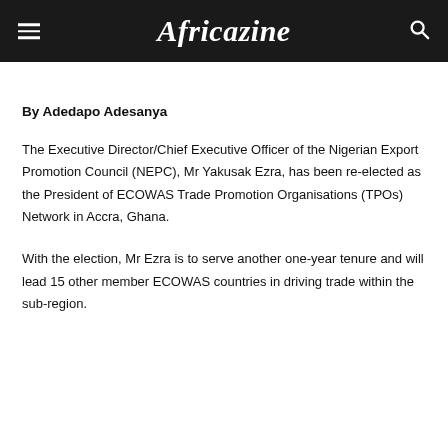Africazine
By Adedapo Adesanya
The Executive Director/Chief Executive Officer of the Nigerian Export Promotion Council (NEPC), Mr Yakusak Ezra, has been re-elected as the President of ECOWAS Trade Promotion Organisations (TPOs) Network in Accra, Ghana.
With the election, Mr Ezra is to serve another one-year tenure and will lead 15 other member ECOWAS countries in driving trade within the sub-region.